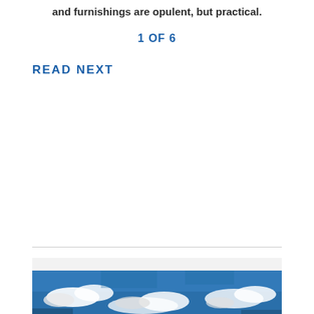and furnishings are opulent, but practical.
1 OF 6
READ NEXT
[Figure (photo): Photograph of a sky with blue tones and white clouds, shown partially at the bottom of the page inside a light gray card area]